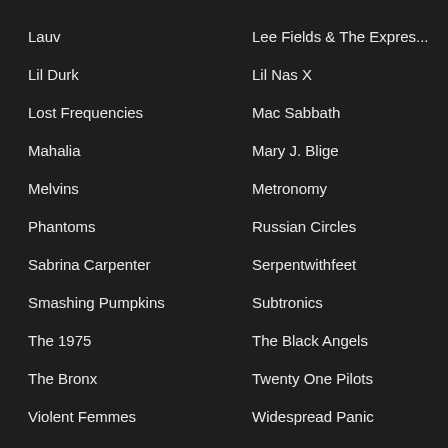Lauv
Lee Fields & The Expres...
Lil Durk
Lil Nas X
Lost Frequencies
Mac Sabbath
Mahalia
Mary J. Blige
Melvins
Metronomy
Phantoms
Russian Circles
Sabrina Carpenter
Serpentwithfeet
Smashing Pumpkins
Subtronics
The 1975
The Black Angels
The Bronx
Twenty One Pilots
Violent Femmes
Widespread Panic